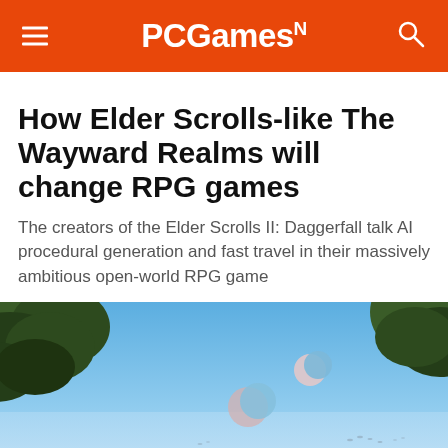PCGamesN
How Elder Scrolls-like The Wayward Realms will change RPG games
The creators of the Elder Scrolls II: Daggerfall talk AI procedural generation and fast travel in their massively ambitious open-world RPG game
[Figure (photo): Outdoor scene with trees in the foreground against a bright blue sky, with a crescent moon visible in the sky]